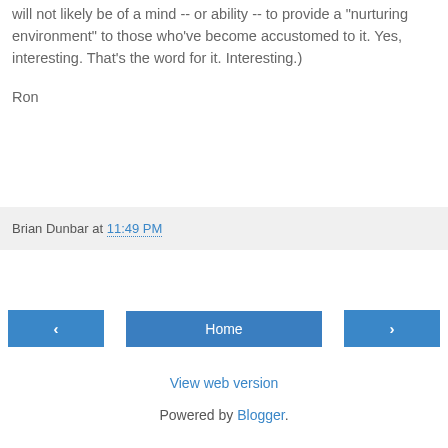will not likely be of a mind -- or ability -- to provide a "nurturing environment" to those who've become accustomed to it. Yes, interesting. That's the word for it. Interesting.)
Ron
Brian Dunbar at 11:49 PM
‹
Home
›
View web version
Powered by Blogger.